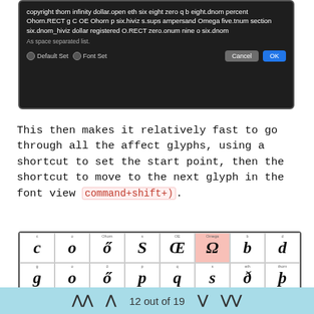[Figure (screenshot): macOS dialog box with dark background showing OpenType feature glyph list text and buttons: Default Set, Font Set, Cancel, OK]
This then makes it relatively fast to go through all the affect glyphs, using a shortcut to set the start point, then the shortcut to move to the next glyph in the font view command+shift+).
[Figure (screenshot): Font editor glyph view showing grid of italic bold glyphs: c, o, ő, s, Œ, Ω (highlighted), b, d in first row; g, o, ő, p, q, s, ð, þ in second row; 0, 5, 6, 8, 9, %, ‰, ? in third row; partial fourth row visible]
12 out of 19